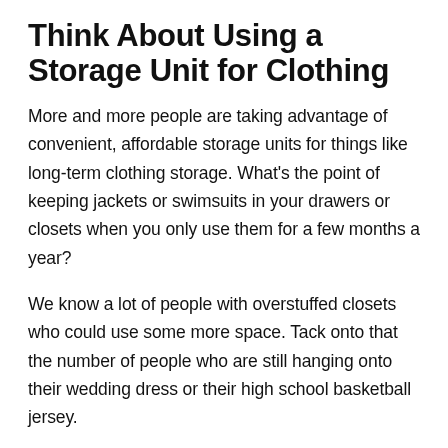Think About Using a Storage Unit for Clothing
More and more people are taking advantage of convenient, affordable storage units for things like long-term clothing storage. What's the point of keeping jackets or swimsuits in your drawers or closets when you only use them for a few months a year?
We know a lot of people with overstuffed closets who could use some more space. Tack onto that the number of people who are still hanging onto their wedding dress or their high school basketball jersey.
All of that stuff is stuff you want to keep, we get it, but it doesn't have to take up valuable space in your home.